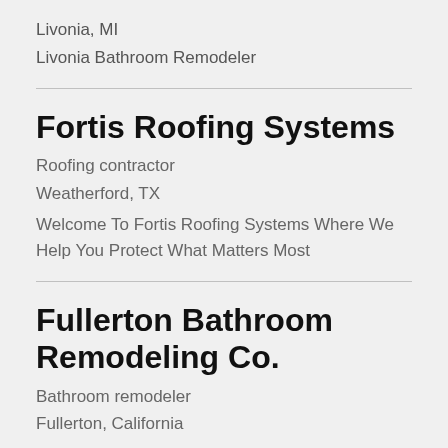Livonia, MI
Livonia Bathroom Remodeler
Fortis Roofing Systems
Roofing contractor
Weatherford, TX
Welcome To Fortis Roofing Systems Where We Help You Protect What Matters Most
Fullerton Bathroom Remodeling Co.
Bathroom remodeler
Fullerton, California